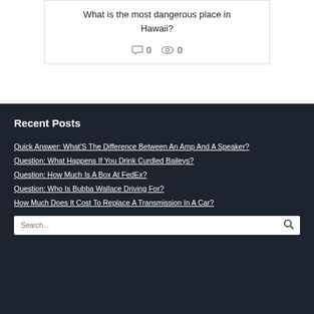What is the most dangerous place in Hawaii?
0 comments · 0 views
Recent Posts
Quick Answer: What'S The Difference Between An Amp And A Speaker?
Question: What Happens If You Drink Curdled Baileys?
Question: How Much Is A Box At FedEx?
Question: Who Is Bubba Wallace Driving For?
How Much Does It Cost To Replace A Transmission In A Car?